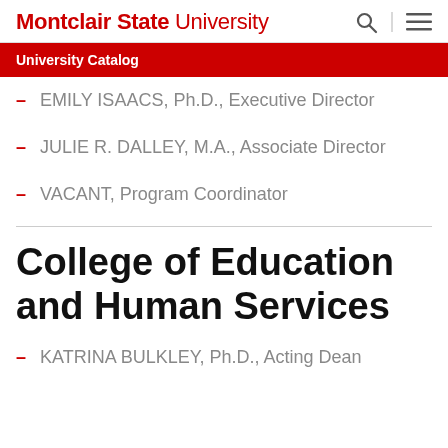Montclair State University
University Catalog
EMILY ISAACS, Ph.D., Executive Director
JULIE R. DALLEY, M.A., Associate Director
VACANT, Program Coordinator
College of Education and Human Services
KATRINA BULKLEY, Ph.D., Acting Dean